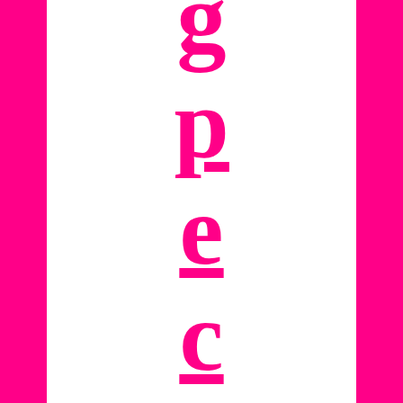[Figure (other): Vertical decorative text spelling out letters of 'g p e c t i v' arranged vertically with large bold underlined hot-pink serif font, flanked by two vertical hot-pink bars on the left and right edges of the page.]